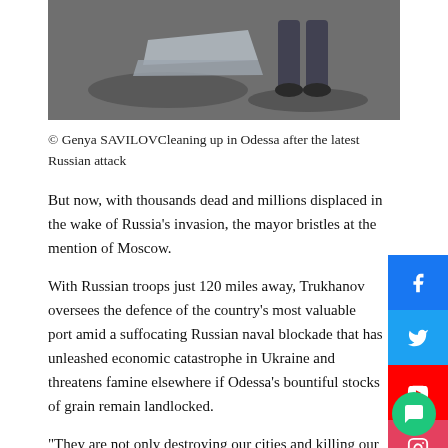[Figure (photo): Partial image showing a person cleaning up debris in Odessa after a Russian attack — only legs and metal debris visible against a dark ground surface.]
© Genya SAVILOVCleaning up in Odessa after the latest Russian attack
But now, with thousands dead and millions displaced in the wake of Russia's invasion, the mayor bristles at the mention of Moscow.
With Russian troops just 120 miles away, Trukhanov oversees the defence of the country's most valuable port amid a suffocating Russian naval blockade that has unleashed economic catastrophe in Ukraine and threatens famine elsewhere if Odessa's bountiful stocks of grain remain landlocked.
“They are not only destroying our cities and killing our residents, they are also triggering an economic collapse,” the mayor said.
‘Occupiers and invaders’
The war with Russia has been particularly painful for Odessa, even as